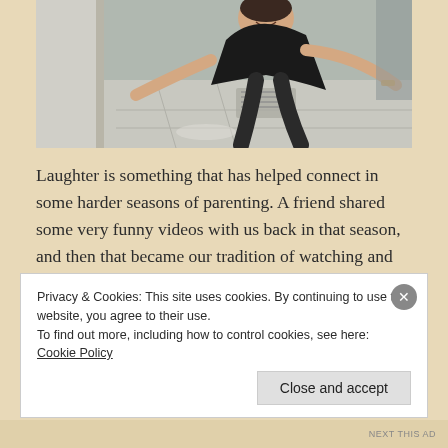[Figure (photo): A woman bending forward on a city street, smiling at the camera. She is wearing a black top. The background shows a sidewalk and street.]
Laughter is something that has helped connect in some harder seasons of parenting. A friend shared some very funny videos with us back in that season, and then that became our tradition of watching and laughing together. It definitely bridged the gap and got us through. We would end up having a lot of
Privacy & Cookies: This site uses cookies. By continuing to use this website, you agree to their use.
To find out more, including how to control cookies, see here: Cookie Policy